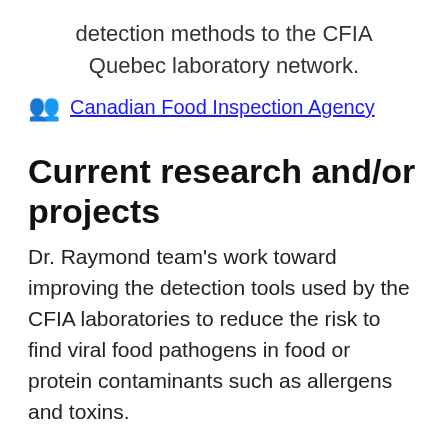detection methods to the CFIA Quebec laboratory network.
Canadian Food Inspection Agency
Current research and/or projects
Dr. Raymond team's work toward improving the detection tools used by the CFIA laboratories to reduce the risk to find viral food pathogens in food or protein contaminants such as allergens and toxins.